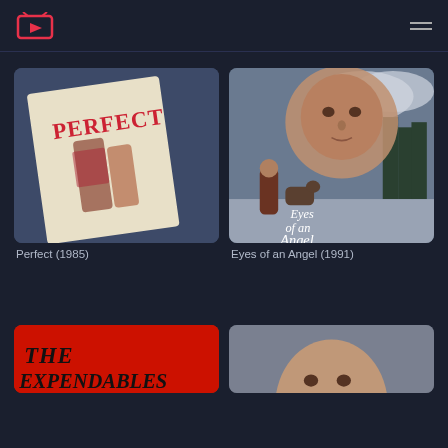Streaming app header with logo and hamburger menu
[Figure (screenshot): Movie poster for Perfect (1985) showing two people in 80s style]
Perfect (1985)
[Figure (screenshot): Movie poster for Eyes of an Angel (1991) showing John Travolta and a child with a dog in a forest setting with text 'Eyes of an Angel']
Eyes of an Angel (1991)
[Figure (screenshot): Movie poster for The Expendables with red background and stylized text]
[Figure (photo): Movie poster showing a man's face, partially visible at bottom right]